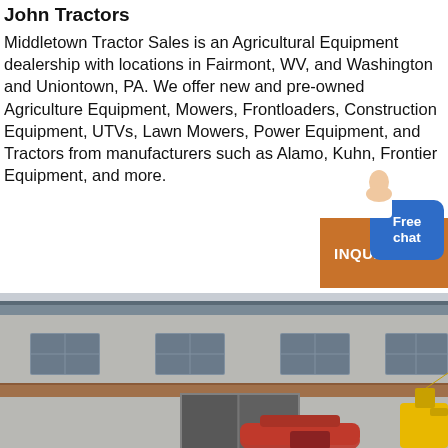John Tractors
Middletown Tractor Sales is an Agricultural Equipment dealership with locations in Fairmont, WV, and Washington and Uniontown, PA. We offer new and pre-owned Agriculture Equipment, Mowers, Frontloaders, Construction Equipment, UTVs, Lawn Mowers, Power Equipment, and Tractors from manufacturers such as Alamo, Kuhn, Frontier Equipment, and more.
[Figure (photo): Industrial building exterior with a red tractor implement and yellow construction equipment in the foreground]